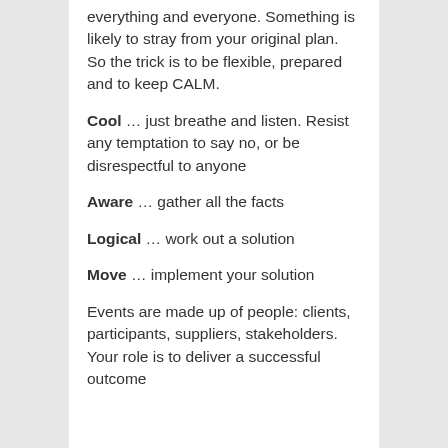everything and everyone. Something is likely to stray from your original plan. So the trick is to be flexible, prepared and to keep CALM.
Cool … just breathe and listen. Resist any temptation to say no, or be disrespectful to anyone
Aware … gather all the facts
Logical … work out a solution
Move … implement your solution
Events are made up of people: clients, participants, suppliers, stakeholders. Your role is to deliver a successful outcome